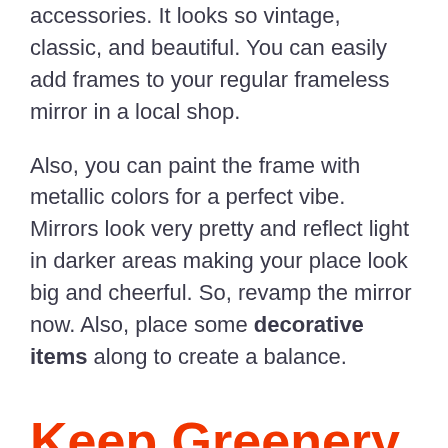accessories. It looks so vintage, classic, and beautiful. You can easily add frames to your regular frameless mirror in a local shop.
Also, you can paint the frame with metallic colors for a perfect vibe. Mirrors look very pretty and reflect light in darker areas making your place look big and cheerful. So, revamp the mirror now. Also, place some decorative items along to create a balance.
Keep Greenery With Plants